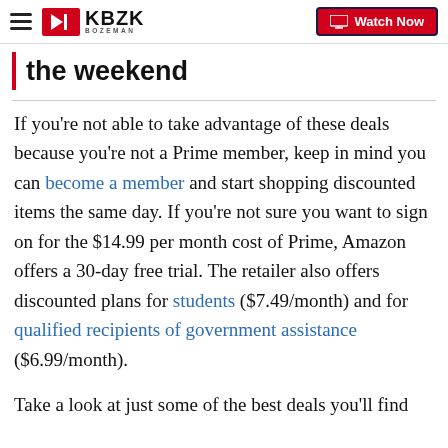KBZK Bozeman | Watch Now
the weekend
If you're not able to take advantage of these deals because you're not a Prime member, keep in mind you can become a member and start shopping discounted items the same day. If you're not sure you want to sign on for the $14.99 per month cost of Prime, Amazon offers a 30-day free trial. The retailer also offers discounted plans for students ($7.49/month) and for qualified recipients of government assistance ($6.99/month).
Take a look at just some of the best deals you'll find this Amazon Prime Day...